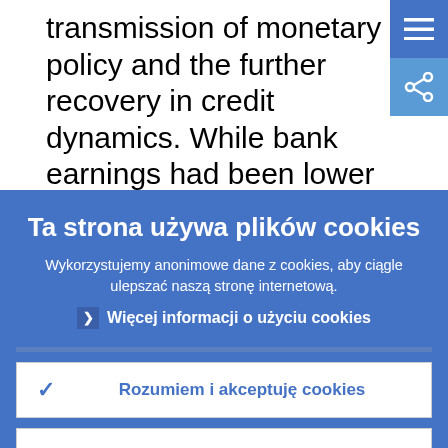transmission of monetary policy and the further recovery in credit dynamics. While bank earnings had been lower in the first quarter of 2016 than in the first quarter of 2015 (when banks had benefited from
Ta strona używa plików cookies
Wykorzystujemy anonimowe dane z cookies, aby ciągle ulepszać naszą stronę internetową.
Więcej informacji o użyciu cookies
Rozumiem i akceptuję cookies
Nie akceptuję cookies